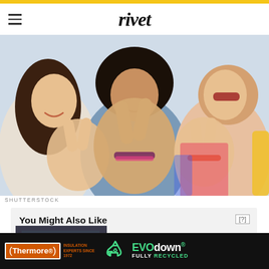rivet
[Figure (photo): Three young people making peace signs with their hands, smiling, at what appears to be a festival or outdoor event. The person on the left has long dark hair, the middle person has an afro and beard, and the person on the right wears sunglasses.]
SHUTTERSTOCK
You Might Also Like
[Figure (photo): Small thumbnail image of a crowd or event scene, used as a recommendation link]
[Figure (other): Advertisement for Thermore EVO down insulation. Dark background showing the Thermore brand logo in orange, a recycling symbol in green, 'EVO down' text in green and white, 'INSULATION EXPERTS SINCE 1972' in orange below, and 'FULLY RECYCLED' in white/green below EVO down.]